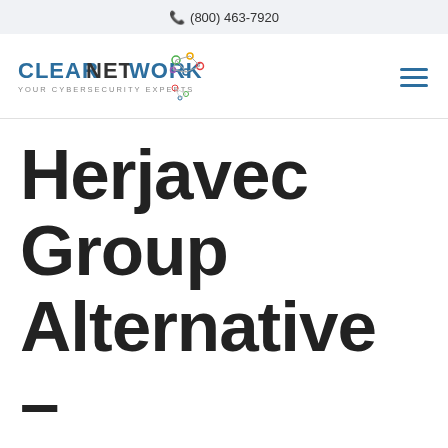(800) 463-7920
[Figure (logo): ClearNetwork logo with text CLEARNETWORK YOUR CYBERSECURITY EXPERTS and a network node graphic]
Herjavec Group Alternative – Managed